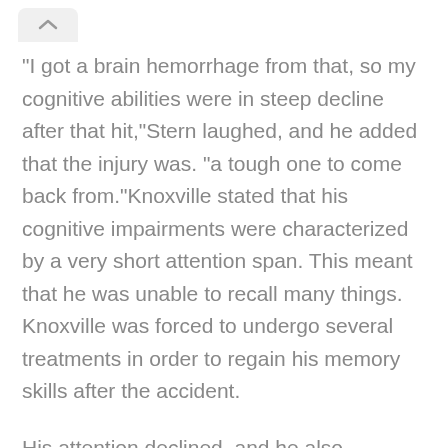“I got a brain hemorrhage from that, so my cognitive abilities were in steep decline after that hit,“Stern laughed, and he added that the injury was. “a tough one to come back from.“Knoxville stated that his cognitive impairments were characterized by a very short attention span. This meant that he was unable to recall many things. Knoxville was forced to undergo several treatments in order to regain his memory skills after the accident.
His attention declined, and he also developed depression from the brain injury. “My brain was just playing tricks on me. I got really depressed and over-focused on things,“He said that he had started